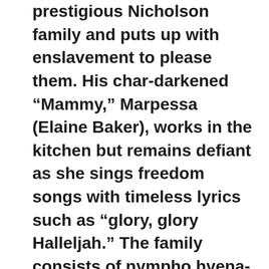prestigious Nicholson family and puts up with enslavement to please them. His char-darkened "Mammy," Marpessa (Elaine Baker), works in the kitchen but remains defiant as she sings freedom songs with timeless lyrics such as "glory, glory Halleljah." The family consists of nympho hyena-like wife Katherine (Katrin Schaake), whom hubby sics on her a fake Mexican doctor to make love to her and falsely wet her appetite into thinking hubby is dying and, zombie-like nitwit sons, the sadistic Frank (Ulli Lommel) and the brain-damaged Davy (Harry Bär). At a certain point the family members, except for the too-far-gone Davy, individually ask the loyal Whity to kill the buggy-whip obsessive sadistic Ben. The willing slave who is treated abusively, used sexually and is continually humiliated for the family's pleasure, becomes taken with saloon-singer/prostitute (Hanna Schygulla) and learns through their lovemaking about freedom and a better way of life. The one time Hanna sours on him is when Whity holds out a fistful of